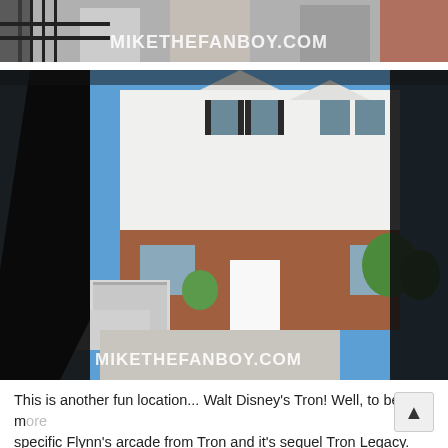[Figure (photo): Top partial photo with watermark MIKETHEFANBOY.COM, showing people near a gate with brick wall background]
[Figure (photo): Photo of a house exterior with white siding and brick, blue sky, framed by dark silhouettes in foreground, with watermark MIKETHEFANBOY.COM]
This is another fun location... Walt Disney's Tron! Well, to be more specific Flynn's arcade from Tron and it's sequel Tron Legacy. In all